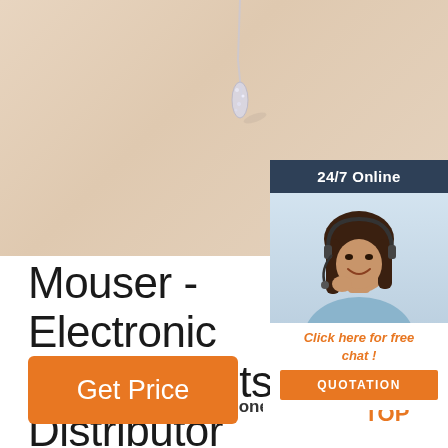[Figure (photo): Beige/cream background with a diamond/crystal jewelry pendant visible at top center, cropped.]
[Figure (infographic): Chat widget overlay on right side: dark blue header '24/7 Online', photo of woman with headset smiling, text 'Click here for free chat!', orange QUOTATION button.]
Mouser - Electronic Components Distributor
Mouser - Electronic Components Distributor
[Figure (other): Orange 'Get Price' button on bottom left.]
[Figure (logo): Orange 'TOP' arrow/triangle icon on bottom right.]